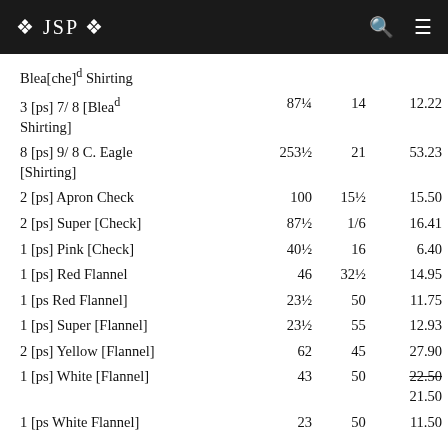❖ JSP ❖
| Description | Col1 | Col2 | Col3 |
| --- | --- | --- | --- |
| Blea[che]d Shirting |  |  |  |
| 3 [ps] 7/ 8 [Bleaᵈ Shirting] | 87¼ | 14 | 12.22 |
| 8 [ps] 9/ 8 C. Eagle [Shirting] | 253½ | 21 | 53.23 |
| 2 [ps] Apron Check | 100 | 15½ | 15.50 |
| 2 [ps] Super [Check] | 87½ | 1/6 | 16.41 |
| 1 [ps] Pink [Check] | 40½ | 16 | 6.40 |
| 1 [ps] Red Flannel | 46 | 32½ | 14.95 |
| 1 [ps Red Flannel] | 23½ | 50 | 11.75 |
| 1 [ps] Super [Flannel] | 23½ | 55 | 12.93 |
| 2 [ps] Yellow [Flannel] | 62 | 45 | 27.90 |
| 1 [ps] White [Flannel] | 43 | 50 | 22.50 (struck) / 21.50 |
| 1 [ps White Flannel] | 23 | 50 | 11.50 |